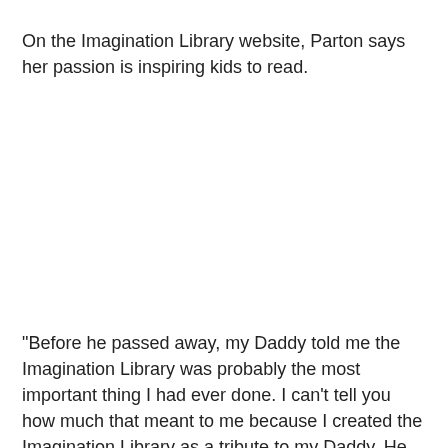On the Imagination Library website, Parton says her passion is inspiring kids to read.
"Before he passed away, my Daddy told me the Imagination Library was probably the most important thing I had ever done. I can't tell you how much that meant to me because I created the Imagination Library as a tribute to my Daddy. He